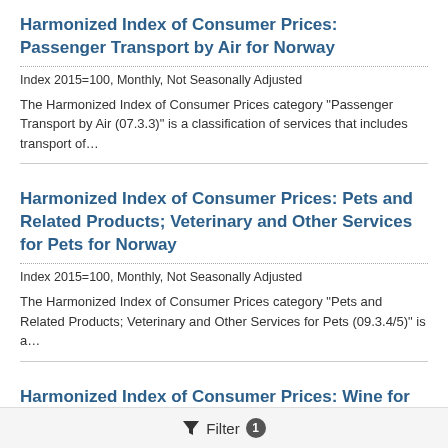Harmonized Index of Consumer Prices: Passenger Transport by Air for Norway
Index 2015=100, Monthly, Not Seasonally Adjusted
The Harmonized Index of Consumer Prices category "Passenger Transport by Air (07.3.3)" is a classification of services that includes transport of...
Harmonized Index of Consumer Prices: Pets and Related Products; Veterinary and Other Services for Pets for Norway
Index 2015=100, Monthly, Not Seasonally Adjusted
The Harmonized Index of Consumer Prices category "Pets and Related Products; Veterinary and Other Services for Pets (09.3.4/5)" is a...
Harmonized Index of Consumer Prices: Wine for Norway
Index 2015=100, Monthly, Not Seasonally Adjusted
Filter 1